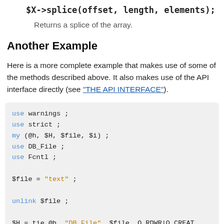$X->splice(offset, length, elements);
Returns a splice of the array.
Another Example
Here is a more complete example that makes use of some of the methods described above. It also makes use of the API interface directly (see "THE API INTERFACE").
use warnings ;
use strict ;
my (@h, $H, $file, $i) ;
use DB_File ;
use Fcntl ;

$file = "text" ;

unlink $file ;

$H = tie @h, "DB_File", $file, O_RDWR|O_CREAT